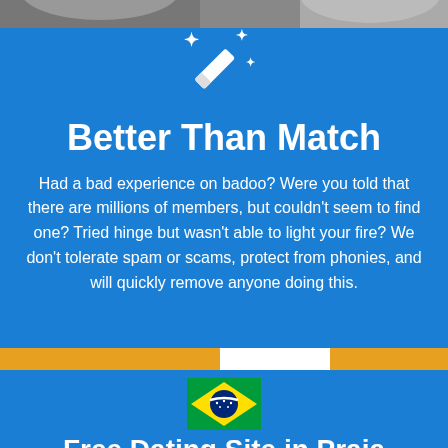[Figure (photo): Top strip showing partial photos of people]
[Figure (illustration): White magic wand icon with sparkles on blue background]
Better Than Match
Had a bad experience on badoo? Were you told that there are millions of members, but couldn't seem to find one? Tried hinge but wasn't able to light your fire? We don't tolerate spam or scams, protect from phonies, and will quickly remove anyone doing this.
[Figure (illustration): Brazilian flag emoji]
Free Dating Site in Praia Grande